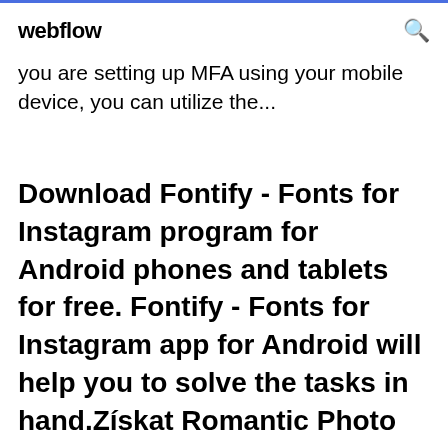webflow
you are setting up MFA using your mobile device, you can utilize the...
Download Fontify - Fonts for Instagram program for Android phones and tablets for free. Fontify - Fonts for Instagram app for Android will help you to solve the tasks in hand.Získat Romantic Photo Frames – Microsoft Store v: cs-CZhttps://microsoft.com/cs-cz/romantic-photo-